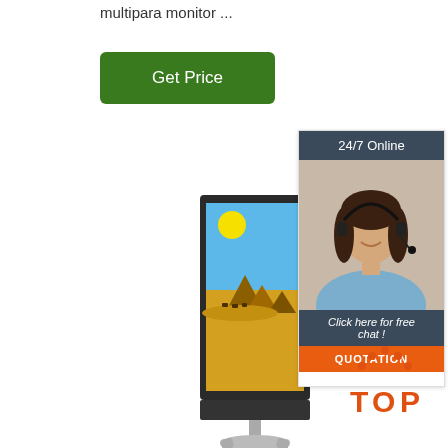multipara monitor ...
[Figure (other): Green 'Get Price' button]
[Figure (photo): Digital signage display kiosk showing Egyptian pyramids scene, standing on a pedestal]
[Figure (infographic): Customer service chat widget with 24/7 Online header, photo of woman with headset, 'Click here for free chat!' text, and orange QUOTATION button]
[Figure (logo): TOP logo with orange dot triangle/arch above letters T-O-P in orange]